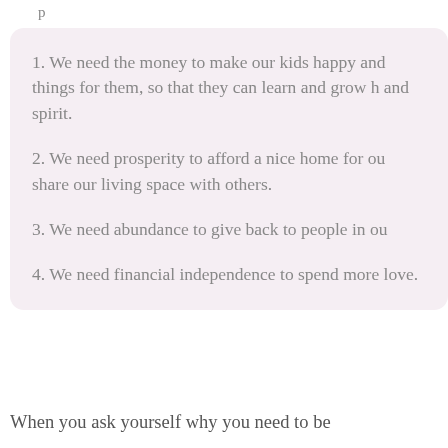1. We need the money to make our kids happy and things for them, so that they can learn and grow h and spirit.
2. We need prosperity to afford a nice home for ou share our living space with others.
3. We need abundance to give back to people in ou
4. We need financial independence to spend more love.
When you ask yourself why you need to be